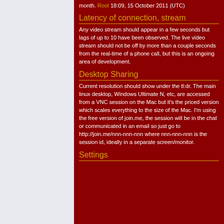month. Root 18:09, 15 October 2011 (UTC)
Latency of connection, stream
Any video stream should appear in a few seconds but lags of up to 10 have been observed. The live video stream should not be off by more than a couple seconds from the real-time of a phone call, but this is an ongoing area of development.
Desktop Sharing
Current resolution should show under the tl:dr. The main linux desktop, Windows Ultimate N, etc, are accessed from a VNC session on the Mac but it's the priced version which scales everything to the size of the Mac. I'm using the free version of join.me, the session will be in the chat or communicated in an email so just go to http://join.me/nnn-nnn-nnn where nnn-nnn-nnn is the session id, ideally in a separate screen/monitor.
Settings